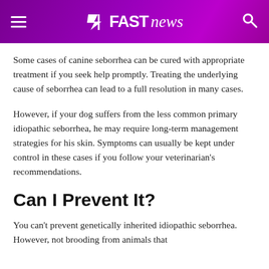FAST news
Some cases of canine seborrhea can be cured with appropriate treatment if you seek help promptly. Treating the underlying cause of seborrhea can lead to a full resolution in many cases.
However, if your dog suffers from the less common primary idiopathic seborrhea, he may require long-term management strategies for his skin. Symptoms can usually be kept under control in these cases if you follow your veterinarian's recommendations.
Can I Prevent It?
You can't prevent genetically inherited idiopathic seborrhea. However, not brooding from animals that